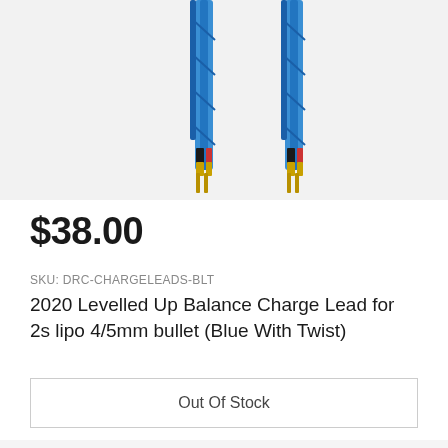[Figure (photo): Product photo of blue twisted balance charge leads with bullet connectors and gold tips, DRC brand logo visible in bottom right of image]
$38.00
SKU: DRC-CHARGELEADS-BLT
2020 Levelled Up Balance Charge Lead for 2s lipo 4/5mm bullet (Blue With Twist)
Out Of Stock
[Figure (photo): Partial product photo showing bottom portion of a white/grey cable lead connector, arc-shaped]